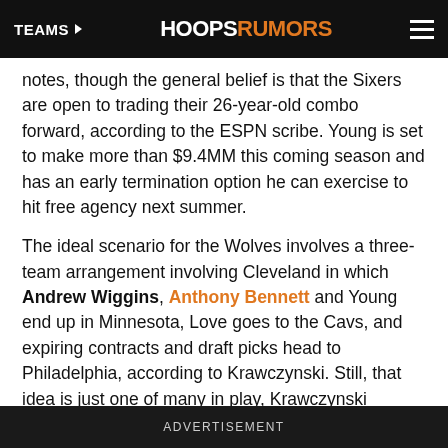TEAMS | HOOPSRUMORS
notes, though the general belief is that the Sixers are open to trading their 26-year-old combo forward, according to the ESPN scribe. Young is set to make more than $9.4MM this coming season and has an early termination option he can exercise to hit free agency next summer.
The ideal scenario for the Wolves involves a three-team arrangement involving Cleveland in which Andrew Wiggins, Anthony Bennett and Young end up in Minnesota, Love goes to the Cavs, and expiring contracts and draft picks head to Philadelphia, according to Krawczynski. Still, that idea is just one of many in play, Krawczynski cautions (Twitter links). The Cavs can't deal Wiggins until August 23rd, since league rules stipulate that
ADVERTISEMENT